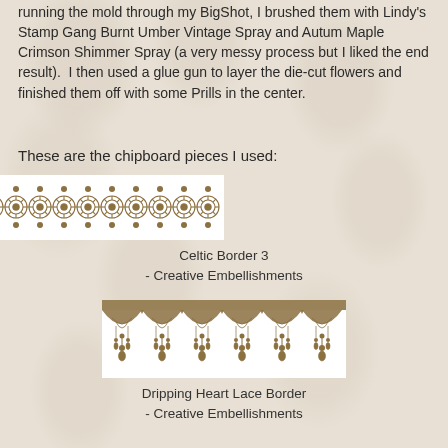running the mold through my BigShot, I brushed them with Lindy's Stamp Gang Burnt Umber Vintage Spray and Autum Maple Crimson Shimmer Spray (a very messy process but I liked the end result).  I then used a glue gun to layer the die-cut flowers and finished them off with some Prills in the center.
These are the chipboard pieces I used:
[Figure (illustration): Celtic Border 3 chipboard piece — a horizontal decorative border of repeating interlocked circular floral lace medallions in tan/brown on white background]
Celtic Border 3
- Creative Embellishments
[Figure (illustration): Dripping Heart Lace Border chipboard piece — a horizontal decorative lace border with scalloped draping hearts and ornate filigree in tan/brown on white background]
Dripping Heart Lace Border
- Creative Embellishments